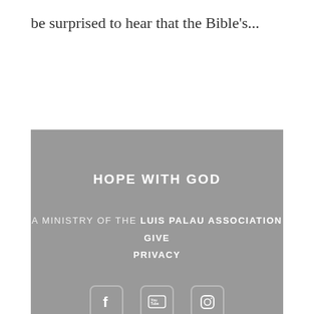be surprised to hear that the Bible's...
HOPE WITH GOD
A MINISTRY OF THE LUIS PALAU ASSOCIATION
GIVE
PRIVACY